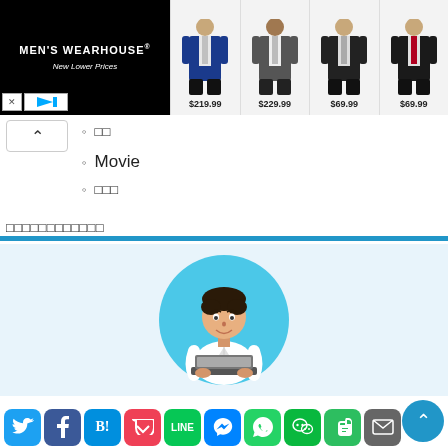[Figure (screenshot): Men's Wearhouse advertisement banner with logo on black background and 4 suit product images priced at $219.99, $229.99, $69.99, $69.99]
□□
Movie
□□□
□□□□□□□□□□□□
[Figure (illustration): Cartoon avatar of a young man sitting with a laptop, inside a cyan circle]
[Figure (screenshot): Social sharing buttons row: Twitter, Facebook, Hatena Bookmark, Pocket, LINE, Messenger, WhatsApp, WeChat, Evernote, Email]